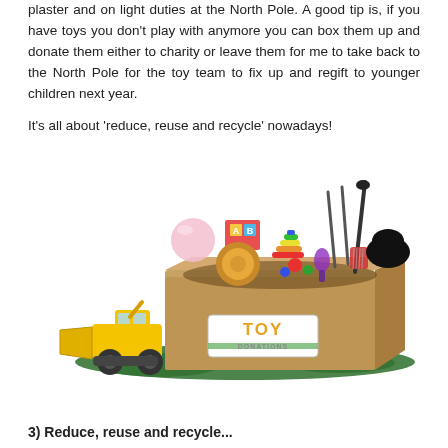plaster and on light duties at the North Pole. A good tip is, if you have toys you don't play with anymore you can box them up and donate them either to charity or leave them for me to take back to the North Pole for the toy team to fix up and regift to younger children next year.
It's all about 'reduce, reuse and recycle' nowadays!
[Figure (photo): A cardboard box filled with assorted children's toys (musical instruments, colorful blocks, toy guitar, rainbow stacker, balls, and more) with a 'TOY DONATIONS' label on the front. A yellow toy bulldozer sits in front of the box, and green garland surrounds the base.]
3) Reduce, reuse and recycle...